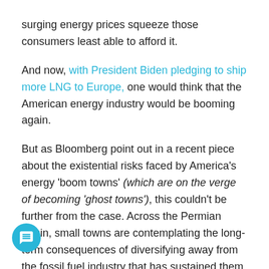surging energy prices squeeze those consumers least able to afford it.
And now, with President Biden pledging to ship more LNG to Europe, one would think that the American energy industry would be booming again.
But as Bloomberg point out in a recent piece about the existential risks faced by America's energy 'boom towns' (which are on the verge of becoming 'ghost towns'), this couldn't be further from the case. Across the Permian Basin, small towns are contemplating the long-term consequences of diversifying away from the fossil fuel industry that has sustained them for decades, with many worried that the green revolution will only further the exodus of workers and people these communities, as the jobs created by the green energy boom fail to even come close to replacing those lost by